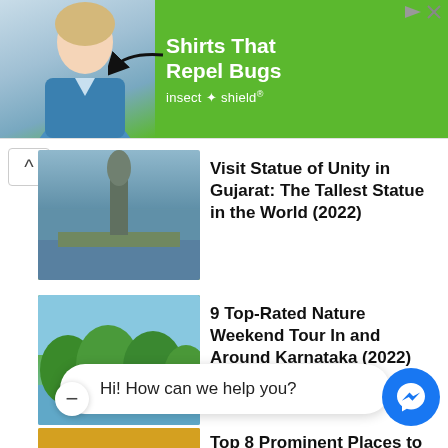[Figure (photo): Green advertisement banner for Insect Shield showing a woman in a blue shirt and text 'Shirts That Repel Bugs' with Insect Shield brand logo]
[Figure (photo): Thumbnail of Statue of Unity in Gujarat with water and dam visible]
Visit Statue of Unity in Gujarat: The Tallest Statue in the World (2022)
[Figure (photo): Thumbnail of a nature scene with green trees and water for Karnataka tour article]
9 Top-Rated Nature Weekend Tour In and Around Karnataka (2022)
[Figure (photo): Thumbnail of a colorful temple interior for prominent places article]
Top 8 Prominent Places to See in
Hi! How can we help you?